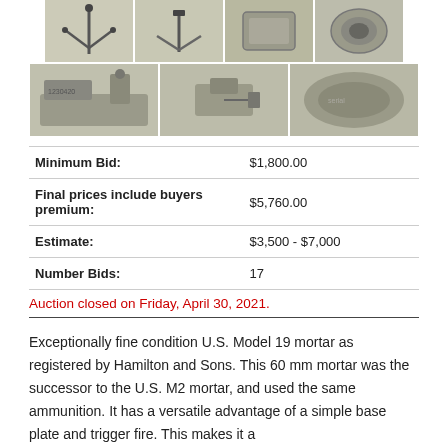[Figure (photo): Top row of 4 product photos showing mortar components: bipod/sight parts, bipod assembly, baseplate top view, barrel end]
[Figure (photo): Bottom row of 3 product photos showing mortar components with serial number 1230420 visible, mechanism close-up, and barrel side view]
| Minimum Bid: | $1,800.00 |
| Final prices include buyers premium: | $5,760.00 |
| Estimate: | $3,500 - $7,000 |
| Number Bids: | 17 |
Auction closed on Friday, April 30, 2021.
Exceptionally fine condition U.S. Model 19 mortar as registered by Hamilton and Sons. This 60 mm mortar was the successor to the U.S. M2 mortar, and used the same ammunition. It has a versatile advantage of a simple base plate and trigger fire. This makes it a